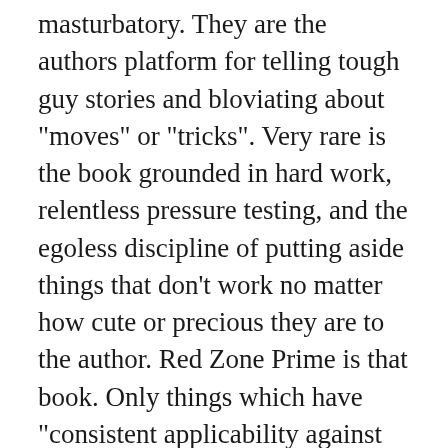masturbatory. They are the authors platform for telling tough guy stories and bloviating about “moves” or “tricks”. Very rare is the book grounded in hard work, relentless pressure testing, and the egoless discipline of putting aside things that don’t work no matter how cute or precious they are to the author. Red Zone Prime is that book. Only things which have “consistent applicability against aggressive resistance” (to quote the introduction) are of value to self protection, and that’s the focus here. Coach Wetzel cuts through a lot of the common BS in self defense teaching and writing, and delivers grounded advice on awareness, avoidance, and violence (when necessary) that actually works. Skip the “dirty tricks” and macho